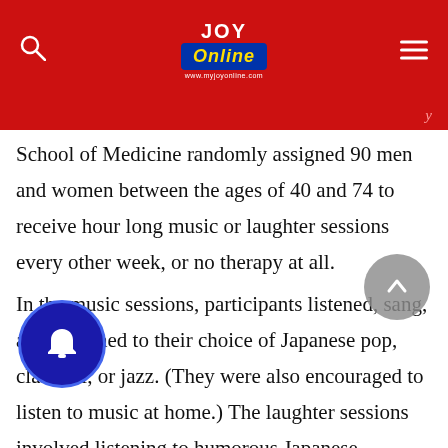Joy Online
School of Medicine randomly assigned 90 men and women between the ages of 40 and 74 to receive hour long music or laughter sessions every other week, or no therapy at all.
In the music sessions, participants listened, sang, and stretched to their choice of Japanese pop, classical, or jazz. (They were also encouraged to listen to music at home.) The laughter sessions involved listening to humorous Japanese storytelling somewhat akin to stand-up comedy